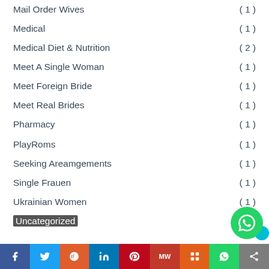Mail Order Wives (1)
Medical (1)
Medical Diet & Nutrition (2)
Meet A Single Woman (1)
Meet Foreign Bride (1)
Meet Real Brides (1)
Pharmacy (1)
PlayRoms (1)
Seeking Areamgements (1)
Single Frauen (1)
Ukrainian Women (1)
Uncategorized
f  Twitter  Reddit  in  Pinterest  MW  Mix  WhatsApp  Share